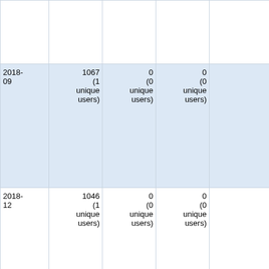| Date | Total views | Unique views | Edits | Top pages |
| --- | --- | --- | --- | --- |
|  |  |  |  | 33 WebChange...
31 WebSearch
27 RunningVirtu...
27 InstallingAnd...
25 InstallingAnd... |
| 2018-09 | 1067
(1 unique users) | 0
(0 unique users) | 0
(0 unique users) | 348 WebHome
149 WebCreateN...
109 InstallingAnd...
59 InstallingAnd...
48 WebPreferen...
48 InstallingAnd...
35 RunningVirtu...
34 Installazione...
30 InstallingAnd...
29 OpenStackU... |
| 2018-12 | 1046
(1 unique users) | 0
(0 unique users) | 0
(0 unique users) | 352 WebHome
139 WebCreateN...
108 InstallingAnd...
51 InstallingAnd...
49 InstallingAnd...
46 WebPreferen...
33 Installazione...
32 RunningVirtu... |